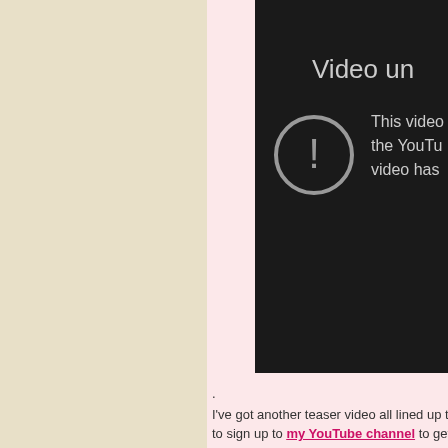[Figure (screenshot): YouTube 'Video unavailable' error screen embedded in a webpage. Shows a dark background with a circular exclamation icon and text: 'Video un...' (Video unavailable) and 'This video... the YouTu... video has...' The surrounding page has a light pink background.]
.
I've got another teaser video all lined up to sign up to my YouTube channel to get a slightly more risque version of the tease...